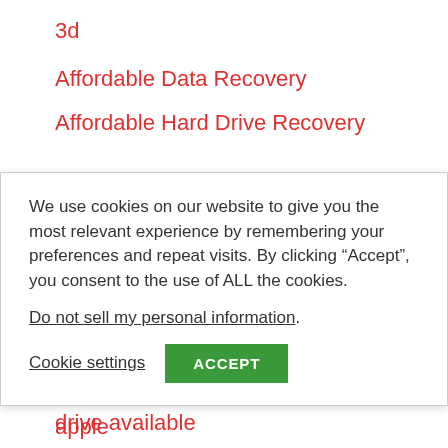3d
Affordable Data Recovery
Affordable Hard Drive Recovery
We use cookies on our website to give you the most relevant experience by remembering your preferences and repeat visits. By clicking “Accept”, you consent to the use of ALL the cookies.
Do not sell my personal information.
Cookie settings    ACCEPT
apple
Apple Broken Display Service
Apple Broken Display Service 4tb hard drive available